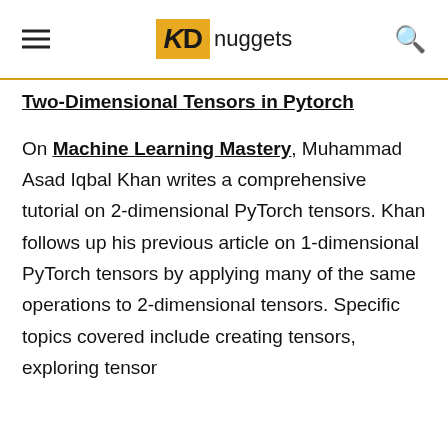KD nuggets
Two-Dimensional Tensors in Pytorch
On Machine Learning Mastery, Muhammad Asad Iqbal Khan writes a comprehensive tutorial on 2-dimensional PyTorch tensors. Khan follows up his previous article on 1-dimensional PyTorch tensors by applying many of the same operations to 2-dimensional tensors. Specific topics covered include creating tensors, exploring tensor